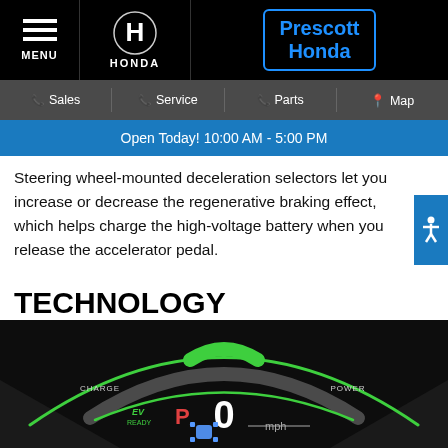MENU | HONDA | Prescott Honda
Sales | Service | Parts | Map
Open Today! 10:00 AM - 5:00 PM
Steering wheel-mounted deceleration selectors let you increase or decrease the regenerative braking effect, which helps charge the high-voltage battery when you release the accelerator pedal.
TECHNOLOGY
[Figure (photo): Honda vehicle digital dashboard display showing speedometer reading 0 mph, gear selector showing P, EV READY indicator in green, and energy flow indicator with CHARGE and POWER arcs in green, all on a dark background]